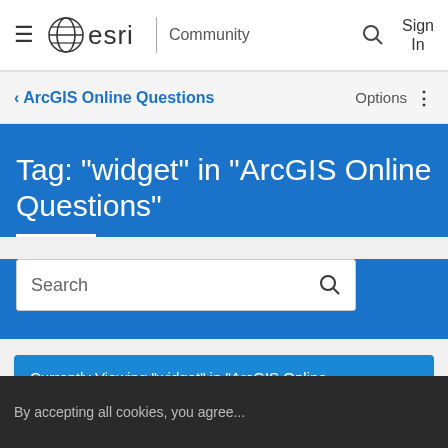esri Community
‹ ArcGIS Online Questions
Tag: "widget" in "ArcGIS Online Questions"
Search
Currently Viewing "widget" in "ArcGIS Online...
By accepting all cookies, you agree...